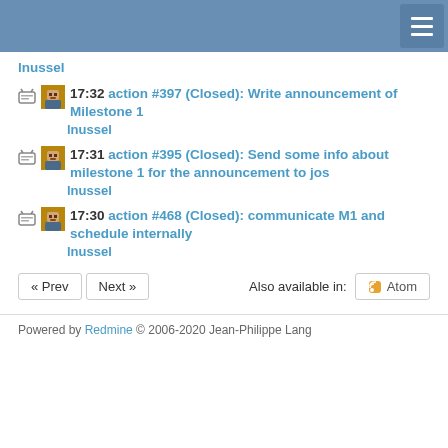lnussel
17:32 action #397 (Closed): Write announcement of Milestone 1
lnussel
17:31 action #395 (Closed): Send some info about milestone 1 for the announcement to jos
lnussel
17:30 action #468 (Closed): communicate M1 and schedule internally
lnussel
« Prev  Next »  Also available in:  Atom
Powered by Redmine © 2006-2020 Jean-Philippe Lang